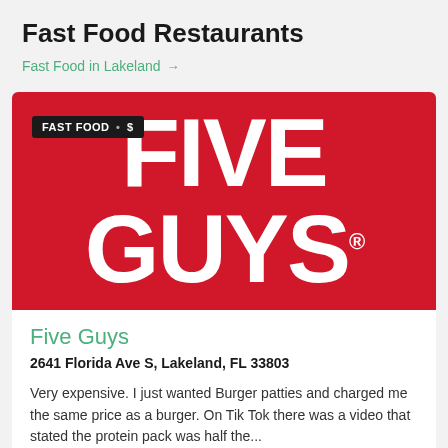Fast Food Restaurants
Fast Food in Lakeland →
[Figure (logo): Five Guys restaurant logo: large white bold text 'FIVE' and 'GUYS' on a red background, with a dark badge reading 'FAST FOOD • $' in the upper left corner.]
Five Guys
2641 Florida Ave S, Lakeland, FL 33803
Very expensive. I just wanted Burger patties and charged me the same price as a burger. On Tik Tok there was a video that stated the protein pack was half the...